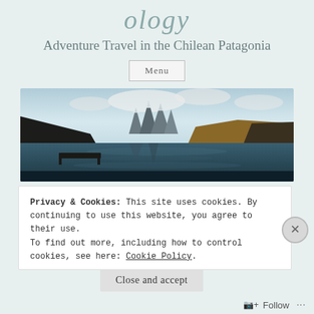Adventure Travel in the Chilean Patagonia
Menu
[Figure (photo): Panoramic photo of Torres del Paine, Chilean Patagonia, showing jagged mountain peaks reflected in a calm lake, with dark hills on both sides and cloudy sky above.]
Privacy & Cookies: This site uses cookies. By continuing to use this website, you agree to their use.
To find out more, including how to control cookies, see here: Cookie Policy
Close and accept
Follow